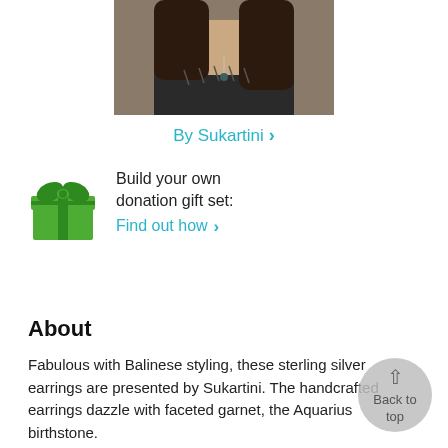[Figure (photo): Cropped photo of a woman wearing a dark patterned top and a necklace with a pendant, showing neck and upper chest area]
By Sukartini >
[Figure (illustration): Green gift box icon with bow on top]
Build your own donation gift set: Find out how >
About
Fabulous with Balinese styling, these sterling silver earrings are presented by Sukartini. The handcrafted earrings dazzle with faceted garnet, the Aquarius birthstone.
.925 Sterling silver